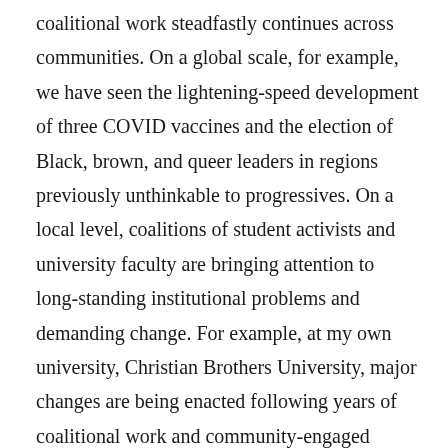coalitional work steadfastly continues across communities. On a global scale, for example, we have seen the lightening-speed development of three COVID vaccines and the election of Black, brown, and queer leaders in regions previously unthinkable to progressives. On a local level, coalitions of student activists and university faculty are bringing attention to long-standing institutional problems and demanding change. For example, at my own university, Christian Brothers University, major changes are being enacted following years of coalitional work and community-engaged action: workers are seeing their base-pay increased to a livable wage, campus security has undergone an administrative assessment and reorganization that brought in Black safety officers and mental health professionals, and institutional and community leadership has reaffirmed financial, educational, and communal commitments to DACA (Deferred Action Childhood Arrivals program) students and